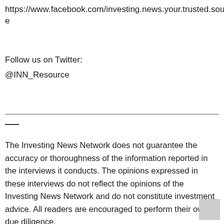https://www.facebook.com/investing.news.your.trusted.source
Follow us on Twitter:
@INN_Resource
The Investing News Network does not guarantee the accuracy or thoroughness of the information reported in the interviews it conducts. The opinions expressed in these interviews do not reflect the opinions of the Investing News Network and do not constitute investment advice. All readers are encouraged to perform their own due diligence.